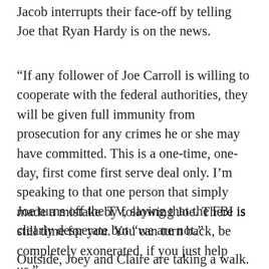Jacob interrupts their face-off by telling Joe that Ryan Hardy is on the news.
“If any follower of Joe Carroll is willing to cooperate with the federal authorities, they will be given full immunity from prosecution for any crimes he or she may have committed. This is a one-time, one-day, first come first serve deal only. I’m speaking to that one person that simply made a mistake by following Joe. There is still time for you. You can turn back, be completely exonerated, if you just help us.”
Joe turns off the TV, saying that the FBI is clearly desperate but “we are not.”
Outside, Joey and Claire are taking a walk.